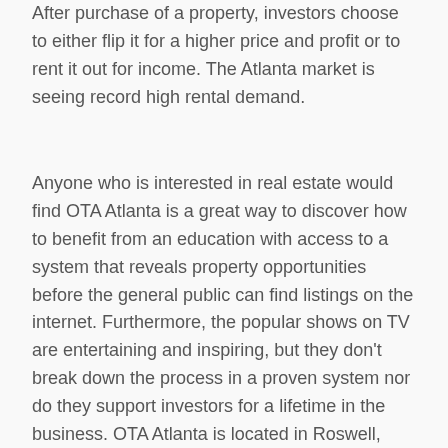After purchase of a property, investors choose to either flip it for a higher price and profit or to rent it out for income.  The Atlanta market is seeing record high rental demand.
Anyone who is interested in real estate would find OTA Atlanta is a great way to discover how to benefit from an education with access to a system that reveals property opportunities before the general public can find listings on the internet. Furthermore, the popular shows on TV are entertaining and inspiring, but they don't break down the process in a proven system nor do they support investors for a lifetime in the business.  OTA Atlanta is located in Roswell, Georgia and attracts people from around the region because they employ trained